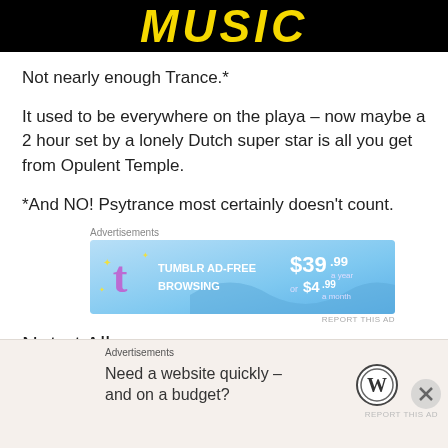[Figure (illustration): Black banner with yellow stylized 'MUSIC' text (partially visible, cropped at top)]
Not nearly enough Trance.*
It used to be everywhere on the playa – now maybe a 2 hour set by a lonely Dutch super star is all you get from Opulent Temple.
*And NO! Psytrance most certainly doesn't count.
[Figure (screenshot): Tumblr advertisement banner: 'TUMBLR AD-FREE BROWSING $39.99 a year or $4.99 a month' with Tumblr logo on blue gradient background]
Not at All.
[Figure (screenshot): Bottom advertisement: 'Need a website quickly – and on a budget?' with WordPress logo on beige background]